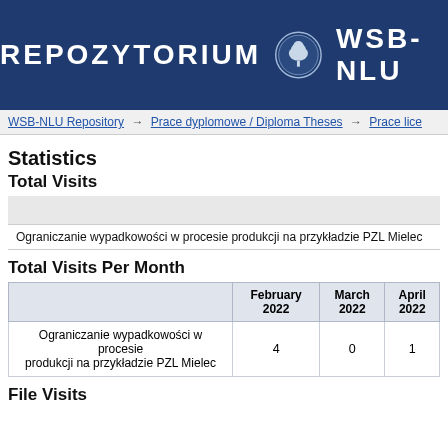[Figure (logo): Repozytorium WSB-NLU header with institution logo — dark blue banner with white bold text REPOZYTORIUM WSB-NLU and a circular seal in the center]
WSB-NLU Repository → Prace dyplomowe / Diploma Theses → Prace lice
Statistics
Total Visits
Ograniczanie wypadkowości w procesie produkcji na przykładzie PZL Mielec
Total Visits Per Month
|  | February 2022 | March 2022 | April 2022 |
| --- | --- | --- | --- |
| Ograniczanie wypadkowości w procesie produkcji na przykładzie PZL Mielec | 4 | 0 | 1 |
File Visits